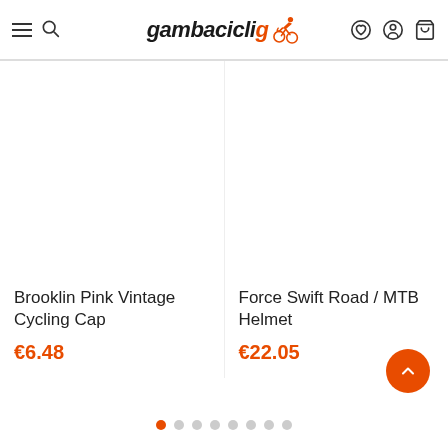[Figure (logo): Gambacicli logo with italic bold text and orange cyclist icon]
Brooklin Pink Vintage Cycling Cap
€6.48
Force Swift Road / MTB Helmet
€22.05